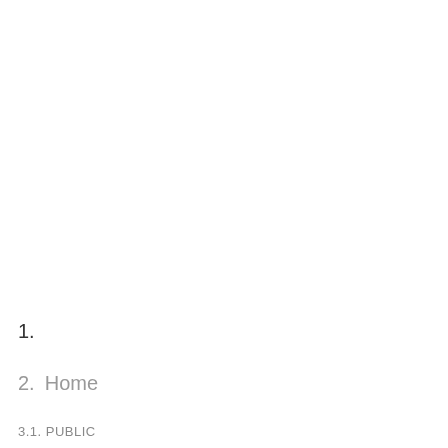iouscommen t).lassumeyourpat
1.
2. Home
3.1. PUBLIC
2. Stack Overflow
3. Tags
4. Users